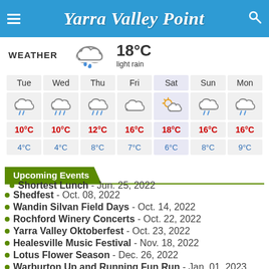Yarra Valley Point
WEATHER  light rain  18°C
| Tue | Wed | Thu | Fri | Sat | Sun | Mon |
| --- | --- | --- | --- | --- | --- | --- |
| (rain) | (rain) | (rain) | (cloud) | (partly sunny) | (rain) | (rain) |
| 10°C / 4°C | 10°C / 4°C | 12°C / 8°C | 16°C / 7°C | 18°C / 6°C | 16°C / 8°C | 16°C / 9°C |
Upcoming Events
Shortest Lunch - Jun. 25, 2022
Shedfest - Oct. 08, 2022
Wandin Silvan Field Days - Oct. 14, 2022
Rochford Winery Concerts - Oct. 22, 2022
Yarra Valley Oktoberfest - Oct. 23, 2022
Healesville Music Festival - Nov. 18, 2022
Lotus Flower Season - Dec. 26, 2022
Warburton Up and Running Fun Run - Jan. 01, 2023